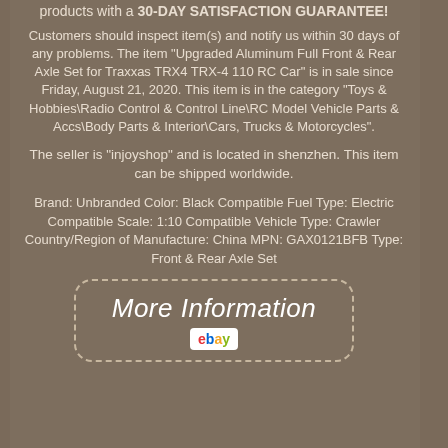products with a 30-DAY SATISFACTION GUARANTEE!
Customers should inspect item(s) and notify us within 30 days of any problems. The item "Upgraded Aluminum Full Front & Rear Axle Set for Traxxas TRX4 TRX-4 110 RC Car" is in sale since Friday, August 21, 2020. This item is in the category "Toys & Hobbies\Radio Control & Control Line\RC Model Vehicle Parts & Accs\Body Parts & Interior\Cars, Trucks & Motorcycles".
The seller is "injoyshop" and is located in shenzhen. This item can be shipped worldwide.
Brand: Unbranded Color: Black Compatible Fuel Type: Electric Compatible Scale: 1:10 Compatible Vehicle Type: Crawler Country/Region of Manufacture: China MPN: GAX0121BFB Type: Front & Rear Axle Set
[Figure (other): More Information button with eBay logo, dashed rounded border on brown background]